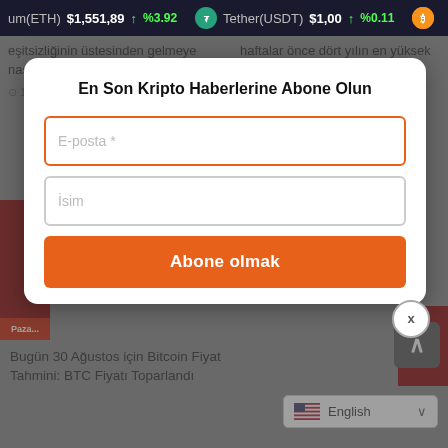um(ETH) $1,551,89 ↑ %3.92   Tether(USDT) $1,00 ↑ %0.11
eşitsizliğinin üstesinden gelmeye nasıl yardımcı olabilir?
haftalar önce dört yılın en yüksek seviyesine ulaştı
[Figure (other): Newsletter subscription modal dialog with title 'En Son Kripto Haberlerine Abone Olun', an email input field (E-posta *), a name input field (İsim), an orange subscribe button labeled 'Abone olmak', and a close (x) button at the bottom right.]
En Son Kripto Haberlerine Abone Olun
E-posta *
İsim
Abone olmak
Bugün 30 Ağustos için Bitcoin Fiyat Tahmini: BTC Fiyatı Toparlandı
English